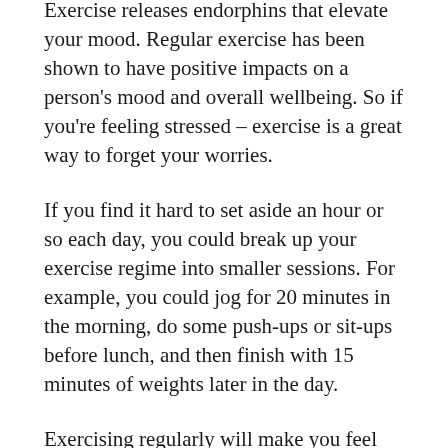Exercise releases endorphins that elevate your mood. Regular exercise has been shown to have positive impacts on a person's mood and overall wellbeing. So if you're feeling stressed – exercise is a great way to forget your worries.
If you find it hard to set aside an hour or so each day, you could break up your exercise regime into smaller sessions. For example, you could jog for 20 minutes in the morning, do some push-ups or sit-ups before lunch, and then finish with 15 minutes of weights later in the day.
Exercising regularly will make you feel happier and more energised.
For some great tips on setting up the perfect home gym, check out this article.